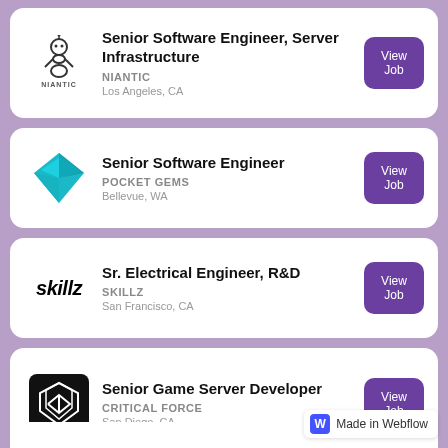Senior Software Engineer, Server Infrastructure | NIANTIC | Los Angeles, CA
Senior Software Engineer | POCKET GEMS | Bellevue, WA
Sr. Electrical Engineer, R&D | SKILLZ | San Francisco, CA
Senior Game Server Developer | CRITICAL FORCE | San Diego, CA
Made in Webflow